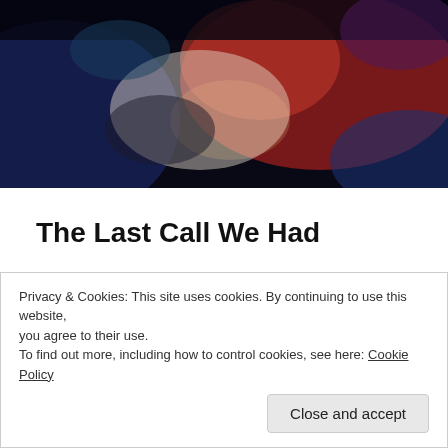[Figure (photo): Dark image of people lying in bed illuminated by screen light, with red and blue tones]
The Last Call We Had
Pierre called today.
I was hanging out with my mom and sister when I saw his name pop up on my phone. Buzz Buzz Buzz. Do I pick up? Of course I do.
home.
Privacy & Cookies: This site uses cookies. By continuing to use this website, you agree to their use.
To find out more, including how to control cookies, see here: Cookie Policy